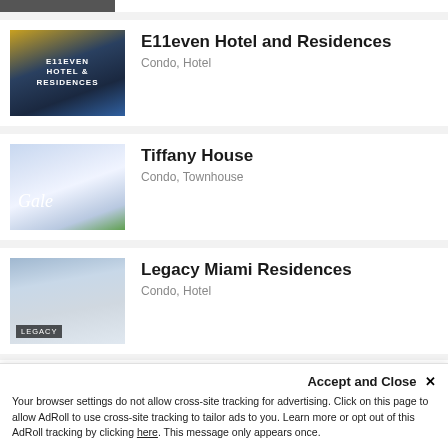E11even Hotel and Residences — Condo, Hotel
Tiffany House — Condo, Townhouse
Legacy Miami Residences — Condo, Hotel
Yacht Club at Aventura — Condo
Accept and Close ✕ Your browser settings do not allow cross-site tracking for advertising. Click on this page to allow AdRoll to use cross-site tracking to tailor ads to you. Learn more or opt out of this AdRoll tracking by clicking here. This message only appears once.